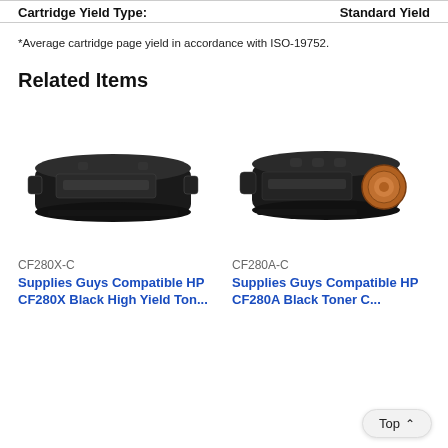| Cartridge Yield Type: | Standard Yield |
| --- | --- |
*Average cartridge page yield in accordance with ISO-19752.
Related Items
[Figure (photo): Photo of a black toner cartridge (CF280X-C compatible) viewed from front-side angle]
CF280X-C
Supplies Guys Compatible HP CF280X Black High Yield Ton...
[Figure (photo): Photo of a black toner cartridge (CF280A-C compatible) viewed from front-side angle showing copper drum]
CF280A-C
Supplies Guys Compatible HP CF280A Black Toner C...